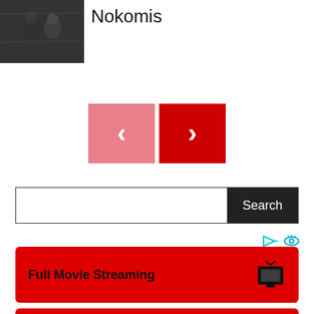[Figure (photo): Black and white movie still thumbnail on the left]
Nokomis
[Figure (other): Navigation buttons: left arrow (pink/light red) and right arrow (red)]
[Figure (other): Search bar with text input and Search button]
[Figure (other): Ad icons (play and eye symbols in cyan)]
Full Movie Streaming
Best Movies To Watch Now